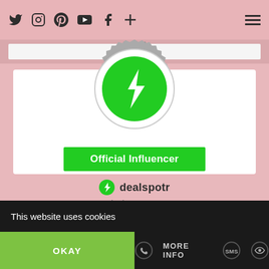Social media navigation icons: Twitter, Instagram, Pinterest, YouTube, Facebook, Plus, Hamburger menu
[Figure (logo): Dealspotr Official Influencer badge: a grey scalloped/gear-edged circular badge with a white inner ring and a bright green circle containing a white lightning bolt in the center. Below the badge is a green rectangle banner reading 'Official Influencer'. Below that is the Dealspotr logo (green circle with lightning bolt icon) next to the text 'dealspotr', followed by 'dealspotr.com' in grey.]
Official Influencer
dealspotr
dealspotr.com
This website uses cookies
OKAY
MORE INFO